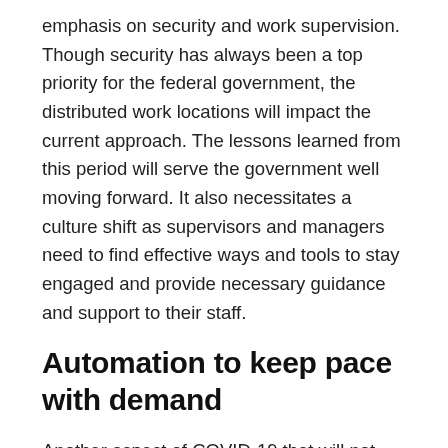emphasis on security and work supervision. Though security has always been a top priority for the federal government, the distributed work locations will impact the current approach. The lessons learned from this period will serve the government well moving forward. It also necessitates a culture shift as supervisors and managers need to find effective ways and tools to stay engaged and provide necessary guidance and support to their staff.
Automation to keep pace with demand
Another aspect of COVID-19 that will not fade is the increased need for citizen-centric government services. Whether that’s directly related to the immediate need to address challenges associated with COVID-19, including contact tracing or vaccine distribution, or